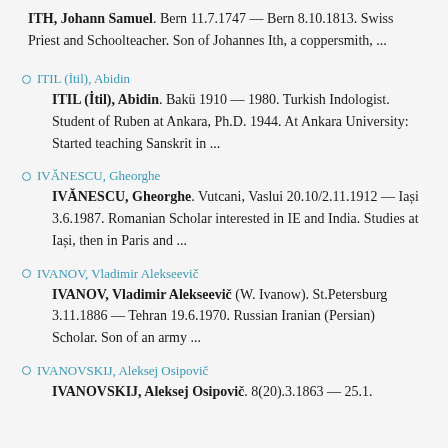ITH, Johann Samuel. Bern 11.7.1747 — Bern 8.10.1813. Swiss Priest and Schoolteacher. Son of Johannes Ith, a coppersmith, ...
ITIL (İtil), Abidin
ITIL (İtil), Abidin. Bakü 1910 — 1980. Turkish Indologist. Student of Ruben at Ankara, Ph.D. 1944. At Ankara University: Started teaching Sanskrit in ...
IVĂNESCU, Gheorghe
IVĂNESCU, Gheorghe. Vutcani, Vaslui 20.10/2.11.1912 — Iași 3.6.1987. Romanian Scholar interested in IE and India. Studies at Iași, then in Paris and ...
IVANOV, Vladimir Alekseevič
IVANOV, Vladimir Alekseevič (W. Ivanow). St.Petersburg 3.11.1886 — Tehran 19.6.1970. Russian Iranian (Persian) Scholar. Son of an army ...
IVANOVSKIJ, Aleksej Osipovič
IVANOVSKIJ, Aleksej Osipovič. 8(20).3.1863 — 25.1.